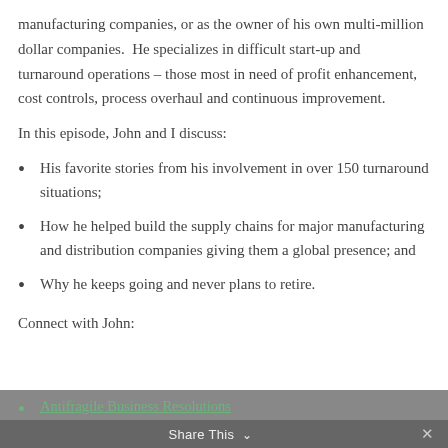manufacturing companies, or as the owner of his own multi-million dollar companies. He specializes in difficult start-up and turnaround operations – those most in need of profit enhancement, cost controls, process overhaul and continuous improvement.
In this episode, John and I discuss:
His favorite stories from his involvement in over 150 turnaround situations;
How he helped build the supply chains for major manufacturing and distribution companies giving them a global presence; and
Why he keeps going and never plans to retire.
Connect with John:
Antifragile Business Resolutions
John on LinkedIn